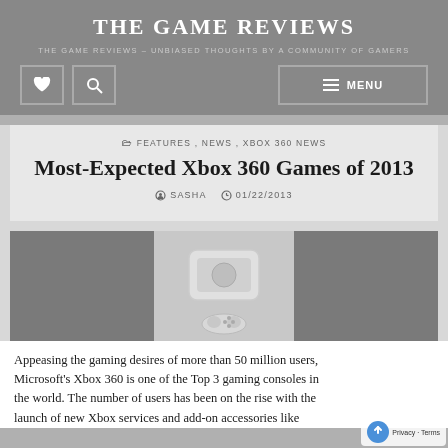THE GAME REVIEWS
THE GAME REVIEWS – UNBIASED THOUGHTS BY A COMMUNITY OF GAMERS
FEATURES, NEWS, XBOX 360 NEWS
Most-Expected Xbox 360 Games of 2013
SASHA   01/22/2013
[Figure (photo): Xbox 360 console and controller image flanked by two gray image placeholders]
Appeasing the gaming desires of more than 50 million users, Microsoft's Xbox 360 is one of the Top 3 gaming consoles in the world. The number of users has been on the rise with the launch of new Xbox services and add-on accessories like